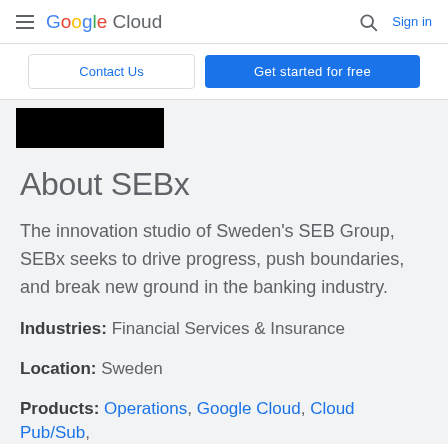Google Cloud  Sign in
Contact Us | Get started for free
[Figure (logo): SEBx logo on black background]
About SEBx
The innovation studio of Sweden's SEB Group, SEBx seeks to drive progress, push boundaries, and break new ground in the banking industry.
Industries: Financial Services & Insurance
Location: Sweden
Products: Operations, Google Cloud, Cloud Pub/Sub,